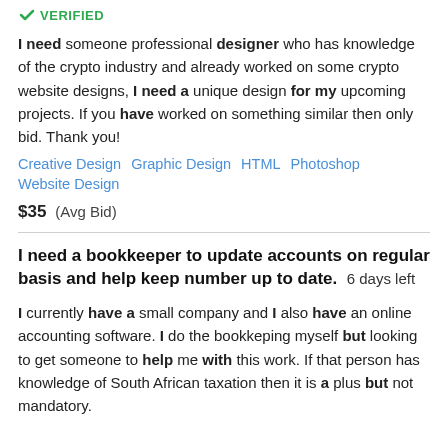[Figure (logo): Green verified checkmark badge with text VERIFIED]
I need someone professional designer who has knowledge of the crypto industry and already worked on some crypto website designs, I need a unique design for my upcoming projects. If you have worked on something similar then only bid. Thank you!
Creative Design   Graphic Design   HTML   Photoshop   Website Design
$35  (Avg Bid)
I need a bookkeeper to update accounts on regular basis and help keep number up to date.  6 days left
I currently have a small company and I also have an online accounting software. I do the bookkeping myself but looking to get someone to help me with this work. If that person has knowledge of South African taxation then it is a plus but not mandatory.